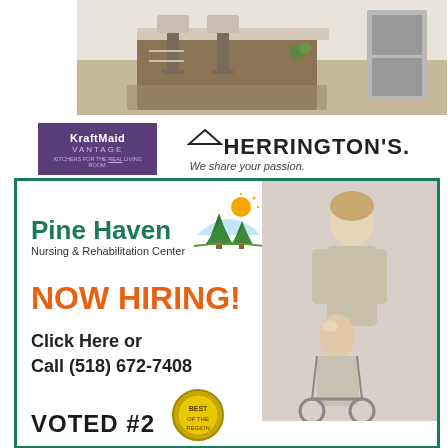[Figure (photo): Kitchen interior with bar stools and island, KraftMaid Vantage cabinetry advertisement with Herrington's branding]
[Figure (photo): Pine Haven Nursing & Rehabilitation Center advertisement with nurse and elderly patient in wheelchair. NOW HIRING! Click Here or Call (518) 672-7408. VOTED #2.]